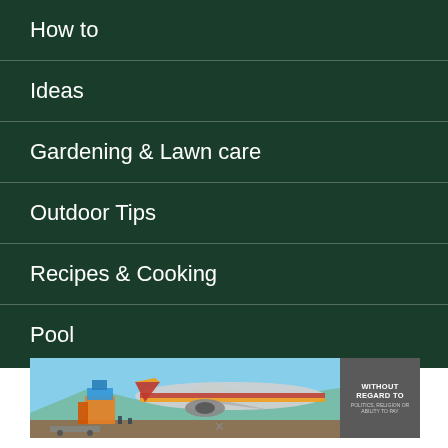How to
Ideas
Gardening & Lawn care
Outdoor Tips
Recipes & Cooking
Pool
[Figure (photo): Advertisement banner showing cargo being loaded onto a Southwest Airlines plane on a tarmac, with text overlay 'WITHOUT REGARD TO POLITICS, RELIGION OR ABILITY TO PAY']